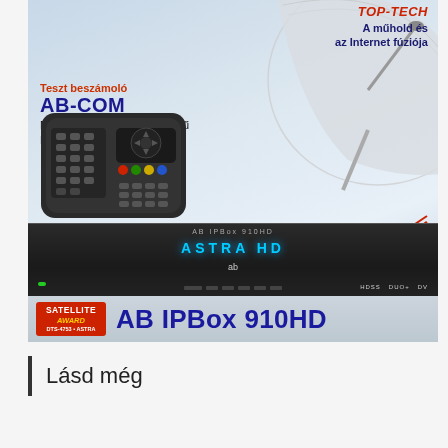[Figure (photo): Magazine cover or advertisement page showing an AB-COM AB IPBox 910HD satellite HD PVR receiver with remote control, satellite dish in background, ab-com logo, Satellite Award badge, and Hungarian text overlay. Product name AB IPBox 910HD displayed prominently at bottom.]
Teszt beszámoló
AB-COM
Milyen erős lehet egy korszerű Linux HD PVR vevőegység?
Lásd még